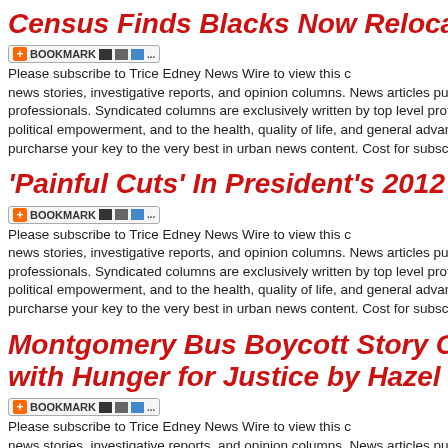Census Finds Blacks Now Relocating to the S
[Figure (other): Bookmark button with social sharing icons]
Please subscribe to Trice Edney News Wire to view this content. news stories, investigative reports, and opinion columns. News articles published professionals. Syndicated columns are exclusively written by top level profession political empowerment, and to the health, quality of life, and general advancement purcharse your key to the very best in urban news content. Cost for subscriptions
'Painful Cuts' In President's 2012 Budget
[Figure (other): Bookmark button with social sharing icons]
Please subscribe to Trice Edney News Wire to view this content. news stories, investigative reports, and opinion columns. News articles published professionals. Syndicated columns are exclusively written by top level profession political empowerment, and to the health, quality of life, and general advancement purcharse your key to the very best in urban news content. Cost for subscriptions
Montgomery Bus Boycott Story Credited for I with Hunger for Justice by Hazel Trice Edney
[Figure (other): Bookmark button with social sharing icons]
Please subscribe to Trice Edney News Wire to view this content. news stories, investigative reports, and opinion columns. News articles published professionals. Syndicated columns are exclusively written by top level profession political empowerment, and to the health, quality of life, and general advancement purcharse your key to the very best in urban news content. Cost for subscriptions